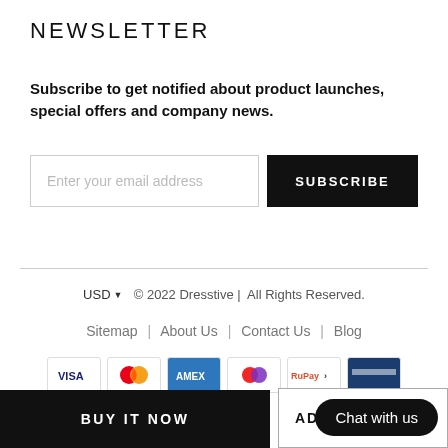NEWSLETTER
Subscribe to get notified about product launches, special offers and company news.
Enter your email address
SUBSCRIBE
USD ▼  © 2022 Dresstive | All Rights Reserved.
Sitemap | About Us | Contact Us | Blog
[Figure (other): Payment method icons: VISA, Mastercard, AMEX, another card, RuPay, and a partially visible card]
BUY IT NOW
AD
Chat with us